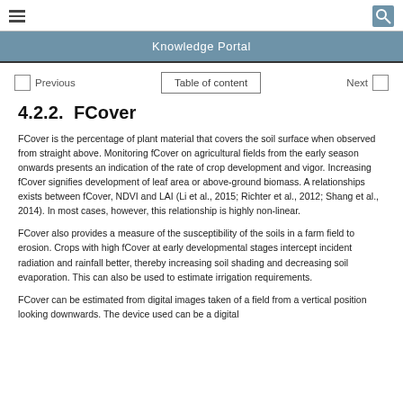Knowledge Portal
4.2.2.  FCover
FCover is the percentage of plant material that covers the soil surface when observed from straight above. Monitoring fCover on agricultural fields from the early season onwards presents an indication of the rate of crop development and vigor. Increasing fCover signifies development of leaf area or above-ground biomass. A relationships exists between fCover, NDVI and LAI (Li et al., 2015; Richter et al., 2012; Shang et al., 2014). In most cases, however, this relationship is highly non-linear.
FCover also provides a measure of the susceptibility of the soils in a farm field to erosion. Crops with high fCover at early developmental stages intercept incident radiation and rainfall better, thereby increasing soil shading and decreasing soil evaporation. This can also be used to estimate irrigation requirements.
FCover can be estimated from digital images taken of a field from a vertical position looking downwards. The device used can be a digital